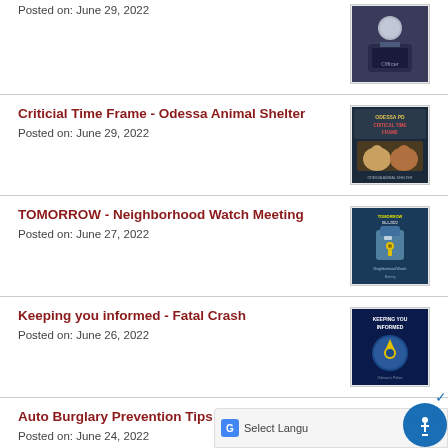Posted on: June 29, 2022
[Figure (photo): Police officer portrait photo]
Criticial Time Frame - Odessa Animal Shelter
Posted on: June 29, 2022
[Figure (photo): Animal shelter critical time frame flyer with dogs]
TOMORROW - Neighborhood Watch Meeting
Posted on: June 27, 2022
[Figure (photo): Neighborhood watch meeting flyer with padlock]
Keeping you informed - Fatal Crash
Posted on: June 26, 2022
[Figure (photo): Keeping you informed blue flyer with police badge]
Auto Burglary Prevention Tips
Posted on: June 24, 2022
[Figure (photo): Auto burglary prevention tips flyer]